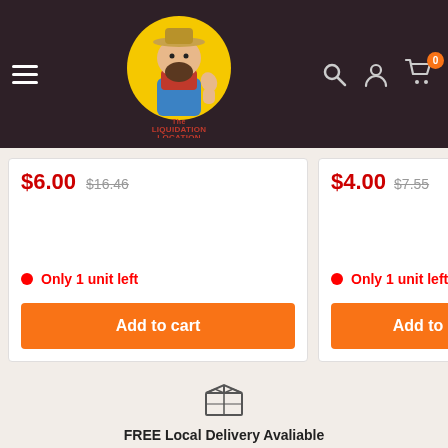[Figure (logo): The Liquidation Location logo — cartoon farmer character with yellow circle background, red/pink stylized text]
$6.00  $16.46
$4.00  $7.55
Only 1 unit left
Only 1 unit left
Add to cart
Add to
[Figure (illustration): Box/package icon — dark outline of a cardboard box]
FREE Local Delivery Avaliable